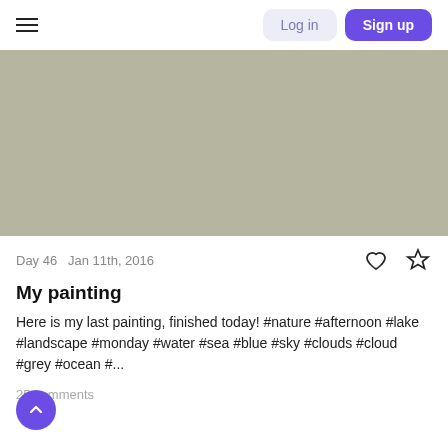Log in | Sign up
[Figure (photo): A grey-green flat color rectangle representing a placeholder image area for a painting post.]
Day 46  Jan 11th, 2016
My painting
Here is my last painting, finished today! #nature #afternoon #lake #landscape #monday #water #sea #blue #sky #clouds #cloud #grey #ocean #...
25 comments